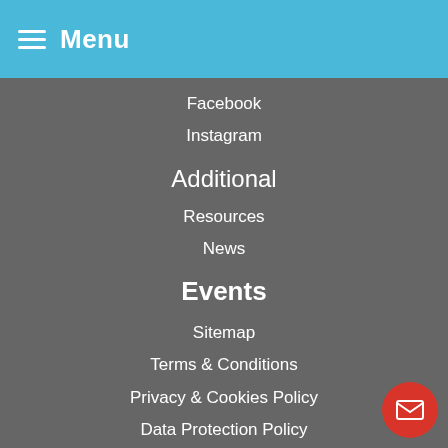Menu
Facebook
Instagram
Additional
Resources
News
Events
Sitemap
Terms & Conditions
Privacy & Cookies Policy
Data Protection Policy
Find a Nursery Near You
Contact Information
The Wandsworth Nursery & Preschool
2 Knightley Walk, Wandsworth, London, SW18 1GZ